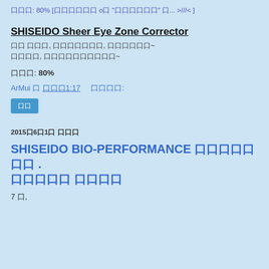口口口: 80% [口口口口口口 o口 "口口口口口口" 口... >///< ]
SHISEIDO Sheer Eye Zone Corrector
口口 口口口, 口口口口口口口, 口口口口口口~
口口口口, 口口口口口口口口口口~
口口口: 80%
ArMui 口 口口口1:17     口口口口:
口口
2015口6口1口 口口口
SHISEIDO BIO-PERFORMANCE 口口口口口口口 . 口口口口口 口口口口
7 口,